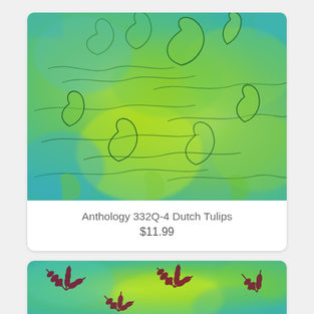[Figure (photo): Green and teal batik fabric with tulip leaf patterns - Anthology 332Q-4 Dutch Tulips]
Anthology 332Q-4 Dutch Tulips
$11.99
[Figure (photo): Green and teal batik fabric with dark red/maroon fern leaf patterns - partially visible]